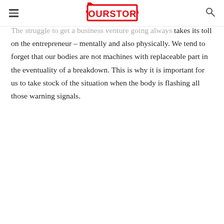YOURSTORY
The struggle to get a business venture going always takes its toll on the entrepreneur – mentally and also physically. We tend to forget that our bodies are not machines with replaceable part in the eventuality of a breakdown. This is why it is important for us to take stock of the situation when the body is flashing all those warning signals.